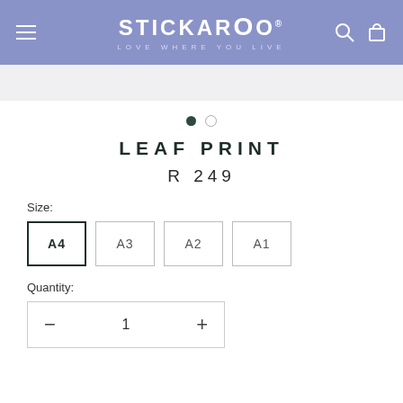STICKAROO — LOVE WHERE YOU LIVE
LEAF PRINT
R 249
Size:
A4
A3
A2
A1
Quantity:
1